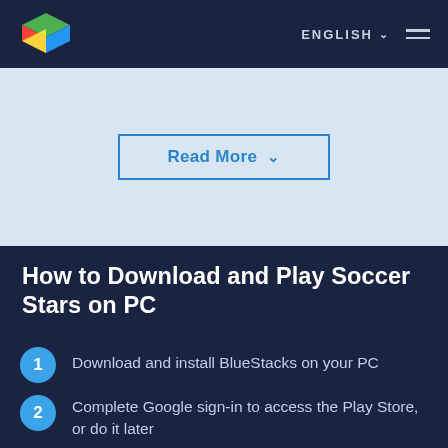ENGLISH (nav bar with BlueStacks logo, language selector, and hamburger menu)
[Figure (screenshot): Read More button with downward chevron on light blue background]
How to Download and Play Soccer Stars on PC
Download and install BlueStacks on your PC
Complete Google sign-in to access the Play Store, or do it later
Look for Soccer Stars in the search bar at the top right